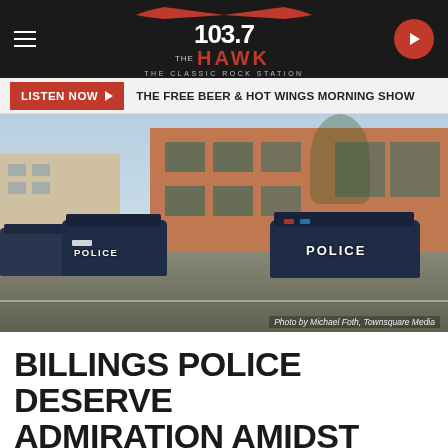103.7 THE HAWK - THE CLASSIC ROCK STATION
LISTEN NOW ▶  THE FREE BEER & HOT WINGS MORNING SHOW
[Figure (photo): Police cars parked outside a brick building on a street in Billings. Two vehicles marked POLICE are visible. Photo credit: Photo by Michael Foth, Townsquare Media]
Photo by Michael Foth, Townsquare Media
BILLINGS POLICE DESERVE ADMIRATION AMIDST RISE IN